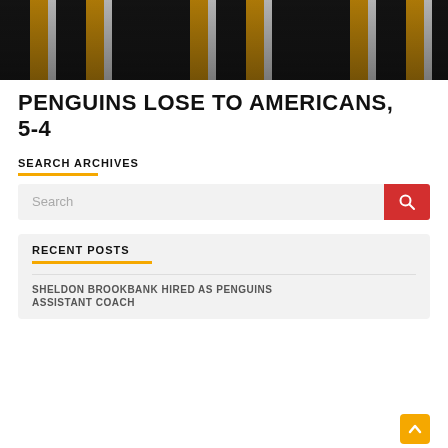[Figure (photo): Hockey players in black and yellow Pittsburgh Penguins jerseys on ice]
PENGUINS LOSE TO AMERICANS, 5-4
SEARCH ARCHIVES
Search
RECENT POSTS
SHELDON BROOKBANK HIRED AS PENGUINS ASSISTANT COACH